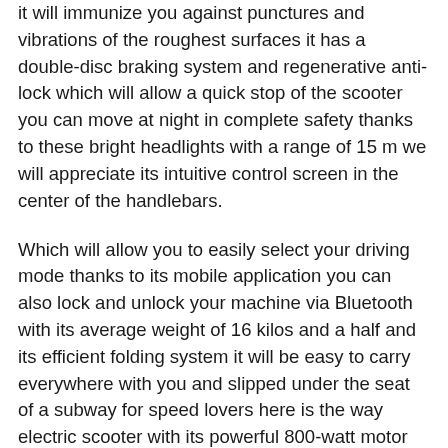it will immunize you against punctures and vibrations of the roughest surfaces it has a double-disc braking system and regenerative anti-lock which will allow a quick stop of the scooter you can move at night in complete safety thanks to these bright headlights with a range of 15 m we will appreciate its intuitive control screen in the center of the handlebars.
Which will allow you to easily select your driving mode thanks to its mobile application you can also lock and unlock your machine via Bluetooth with its average weight of 16 kilos and a half and its efficient folding system it will be easy to carry everywhere with you and slipped under the seat of a subway for speed lovers here is the way electric scooter with its powerful 800-watt motor you can reach.